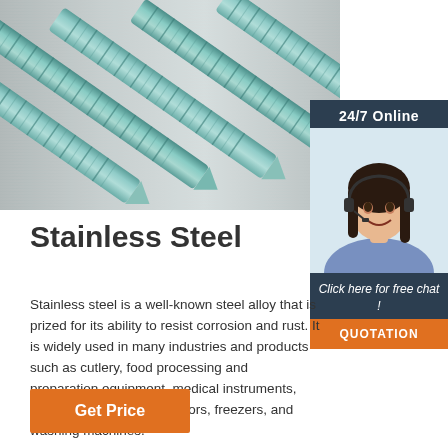[Figure (photo): Close-up photo of multiple metallic stainless steel screws arranged diagonally on a brushed metal surface — the screws are shiny with a blue-green tint]
[Figure (photo): Sidebar showing a female customer service agent with headset smiling, with '24/7 Online' header, 'Click here for free chat!' text, and an orange QUOTATION button]
Stainless Steel
Stainless steel is a well-known steel alloy that is prized for its ability to resist corrosion and rust. It is widely used in many industries and products such as cutlery, food processing and preparation equipment, medical instruments, marine products, refrigerators, freezers, and washing machines.
Get Price